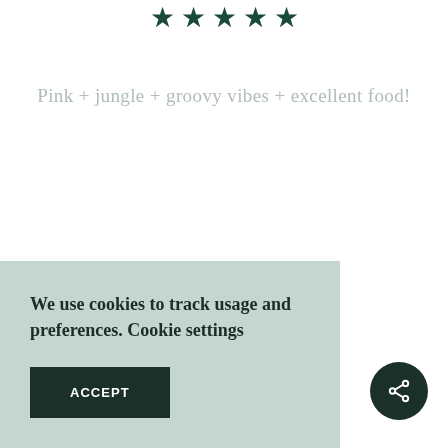[Figure (other): Five dark green filled stars rating icons displayed in a row at the top of the page]
Pink + jungle + groovy vibes + excellent food!
We use cookies to track usage and preferences. Cookie settings
ACCEPT
[Figure (other): Dark green circular share button with share icon (network/share symbol) in white]